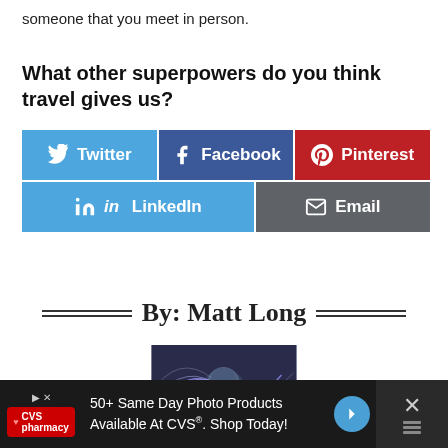someone that you meet in person.
What other superpowers do you think travel gives us?
[Figure (infographic): Social share buttons grid: Twitter (blue), Facebook (dark blue), Pinterest (red) in top row; LinkedIn (blue) and Email (gray) in bottom row]
By: Matt Long
[Figure (photo): Author photo of Matt Long with light painting effect in background]
[Figure (infographic): Advertisement bar: CVS Pharmacy logo, text '50+ Same Day Photo Products Available At CVS®. Shop Today!', blue arrow icon, close button]